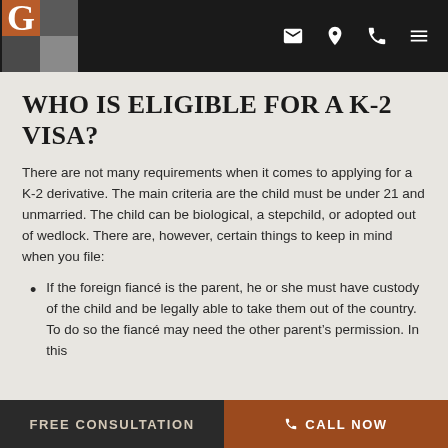G [Law firm logo with navigation icons]
WHO IS ELIGIBLE FOR A K-2 VISA?
There are not many requirements when it comes to applying for a K-2 derivative. The main criteria are the child must be under 21 and unmarried. The child can be biological, a stepchild, or adopted out of wedlock. There are, however, certain things to keep in mind when you file:
If the foreign fiancé is the parent, he or she must have custody of the child and be legally able to take them out of the country. To do so the fiancé may need the other parent's permission. In this
FREE CONSULTATION   CALL NOW